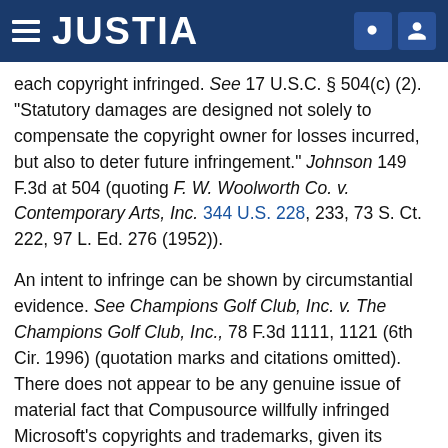JUSTIA
each copyright infringed. See 17 U.S.C. § 504(c) (2). "Statutory damages are designed not solely to compensate the copyright owner for losses incurred, but also to deter future infringement." Johnson 149 F.3d at 504 (quoting F. W. Woolworth Co. v. Contemporary Arts, Inc. 344 U.S. 228, 233, 73 S. Ct. 222, 97 L. Ed. 276 (1952)).
An intent to infringe can be shown by circumstantial evidence. See Champions Golf Club, Inc. v. The Champions Golf Club, Inc., 78 F.3d 1111, 1121 (6th Cir. 1996) (quotation marks and citations omitted). There does not appear to be any genuine issue of material fact that Compusource willfully infringed Microsoft's copyrights and trademarks, given its conduct after receiving Microsoft's cease and desist letter. (See Part IV.A, supra.)
Microsoft asserts that it would be entitled to recover